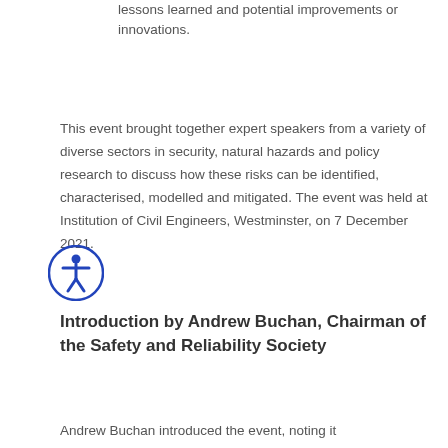lessons learned and potential improvements or innovations.
This event brought together expert speakers from a variety of diverse sectors in security, natural hazards and policy research to discuss how these risks can be identified, characterised, modelled and mitigated. The event was held at Institution of Civil Engineers, Westminster, on 7 December 2021.
Introduction by Andrew Buchan, Chairman of the Safety and Reliability Society
Andrew Buchan introduced the event, noting it